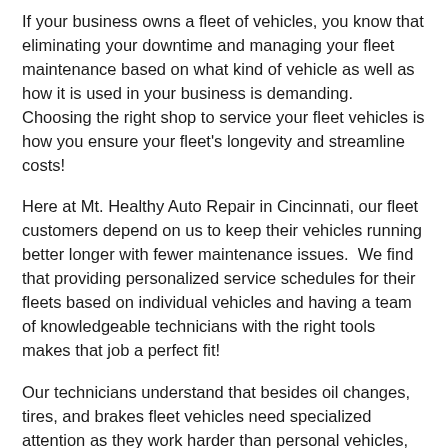If your business owns a fleet of vehicles, you know that eliminating your downtime and managing your fleet maintenance based on what kind of vehicle as well as how it is used in your business is demanding.   Choosing the right shop to service your fleet vehicles is how you ensure your fleet's longevity and streamline costs!
Here at Mt. Healthy Auto Repair in Cincinnati, our fleet customers depend on us to keep their vehicles running better longer with fewer maintenance issues.  We find that providing personalized service schedules for their fleets based on individual vehicles and having a team of knowledgeable technicians with the right tools makes that job a perfect fit!
Our technicians understand that besides oil changes, tires, and brakes fleet vehicles need specialized attention as they work harder than personal vehicles, and issues are left to escalate more often. We will thoroughly check your fleet service to build a program that works for each vehicle and